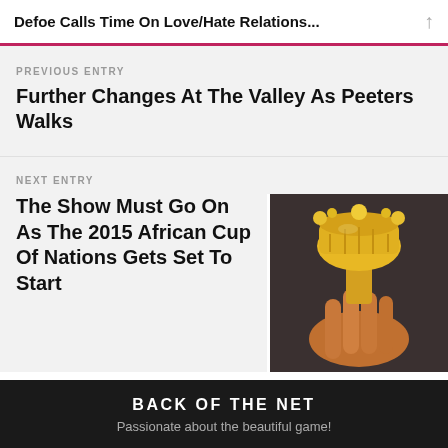Defoe Calls Time On Love/Hate Relations...
PREVIOUS ENTRY
Further Changes At The Valley As Peeters Walks
NEXT ENTRY
The Show Must Go On As The 2015 African Cup Of Nations Gets Set To Start
[Figure (photo): A hand holding a golden trophy (African Cup of Nations)]
BACK OF THE NET
Passionate about the beautiful game!